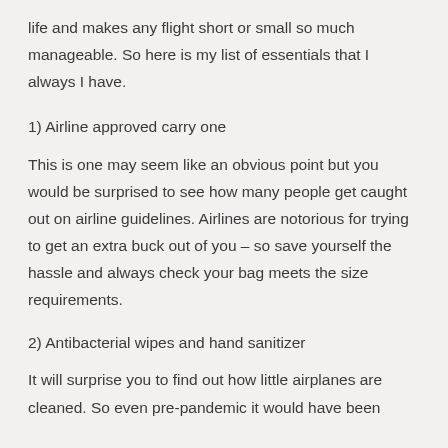life and makes any flight short or small so much manageable. So here is my list of essentials that I always I have.
1) Airline approved carry one
This is one may seem like an obvious point but you would be surprised to see how many people get caught out on airline guidelines. Airlines are notorious for trying to get an extra buck out of you – so save yourself the hassle and always check your bag meets the size requirements.
2) Antibacterial wipes and hand sanitizer
It will surprise you to find out how little airplanes are cleaned. So even pre-pandemic it would have been